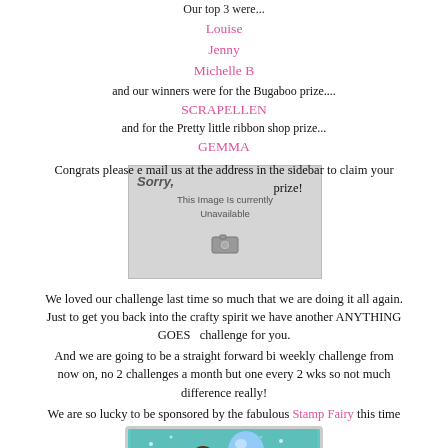Our top 3 were...
Louise
Jenny
Michelle B
and our winners were for the Bugaboo prize....
SCRAPELLEN
and for the Pretty little ribbon shop prize...
GEMMA
Congrats please e mail us at the address in the sidebar to claim your prize!
[Figure (other): Image currently unavailable placeholder with sorry message]
We loved our challenge last time so much that we are doing it all again. Just to get you back into the crafty spirit we have another ANYTHING GOES  challenge for you.
And we are going to be a straight forward bi weekly challenge from now on, no 2 challenges a month but one every 2 wks so not much difference really!
We are so lucky to be sponsored by the fabulous Stamp Fairy this time
[Figure (logo): Stamp Fairy Shop logo with cartoon bear holding a balloon on teal background]